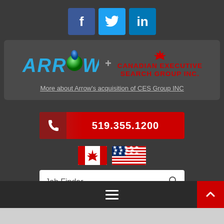[Figure (logo): Social media icons: Facebook (f), Twitter (bird), LinkedIn (in)]
[Figure (logo): Arrow company logo combined with Canadian Executive Search Group Inc. logo with maple leaf, and text: More about Arrow's acquisition of CES Group INC]
[Figure (infographic): Red phone button with phone icon and number 519.355.1200]
[Figure (infographic): Canadian flag and US flag icons]
Job Finder
[Figure (infographic): Footer bar with hamburger menu and red scroll-to-top button with up arrow]